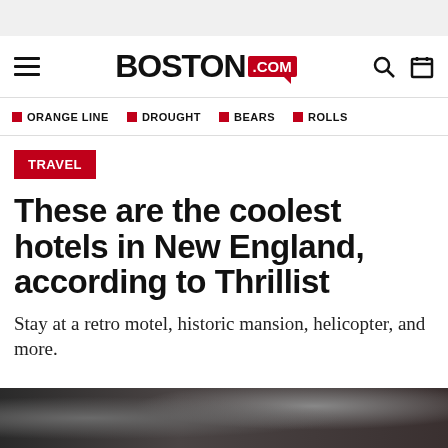Boston.com
ORANGE LINE  DROUGHT  BEARS  ROLLS
TRAVEL
These are the coolest hotels in New England, according to Thrillist
Stay at a retro motel, historic mansion, helicopter, and more.
[Figure (photo): Bottom portion of page showing a dark photo strip, likely a helicopter or hotel interior image]